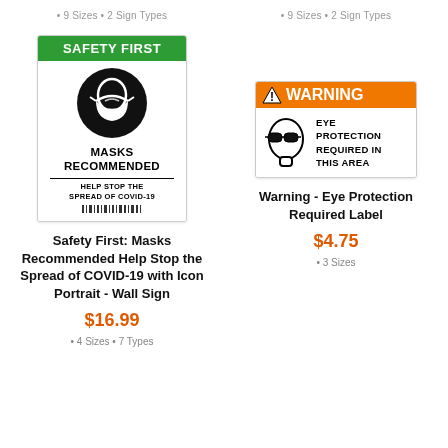• 9 Sizes • 2 Sign Types
[Figure (illustration): Safety First: Masks Recommended safety sign with green header, face mask icon in black circle, bold text 'MASKS RECOMMENDED' and 'HELP STOP THE SPREAD OF COVID-19']
Safety First: Masks Recommended Help Stop the Spread of COVID-19 with Icon Portrait - Wall Sign
$16.99
• 4 Sizes • 7 Types
• 9 Sizes • 2 Sign Types
[Figure (illustration): Warning Eye Protection Required safety label with orange header, face with safety glasses icon, bold text 'EYE PROTECTION REQUIRED IN THIS AREA']
Warning - Eye Protection Required Label
$4.75
• 3 Sizes